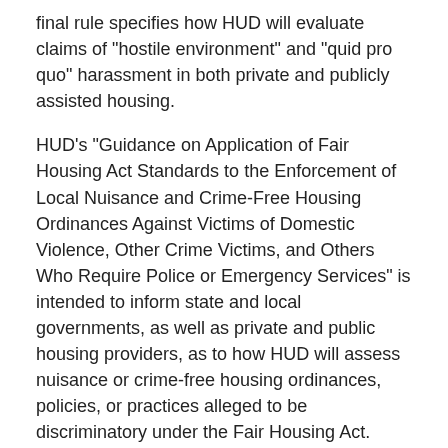final rule specifies how HUD will evaluate claims of "hostile environment" and "quid pro quo" harassment in both private and publicly assisted housing.
HUD’s “Guidance on Application of Fair Housing Act Standards to the Enforcement of Local Nuisance and Crime-Free Housing Ordinances Against Victims of Domestic Violence, Other Crime Victims, and Others Who Require Police or Emergency Services” is intended to inform state and local governments, as well as private and public housing providers, as to how HUD will assess nuisance or crime-free housing ordinances, policies, or practices alleged to be discriminatory under the Fair Housing Act.
These local ordinances may be used to evict domestic violence survivors and others who seek police or emergency assistance. HUD’s final rule on harassment in housing includes:
Formal uniform standards for evaluating claims of hostile environment and quid pro quo harassment in the
hostile environment and quid pro quo harassment in the